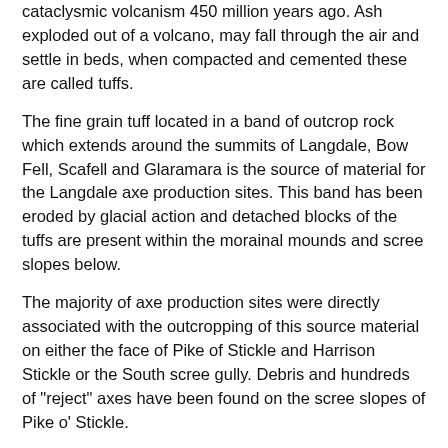cataclysmic volcanism 450 million years ago. Ash exploded out of a volcano, may fall through the air and settle in beds, when compacted and cemented these are called tuffs.
The fine grain tuff located in a band of outcrop rock which extends around the summits of Langdale, Bow Fell, Scafell and Glaramara is the source of material for the Langdale axe production sites. This band has been eroded by glacial action and detached blocks of the tuffs are present within the morainal mounds and scree slopes below.
The majority of axe production sites were directly associated with the outcropping of this source material on either the face of Pike of Stickle and Harrison Stickle or the South scree gully. Debris and hundreds of "reject" axes have been found on the scree slopes of Pike o' Stickle.
[Figure (photo): A blank/white rectangular image placeholder with a light gray border.]